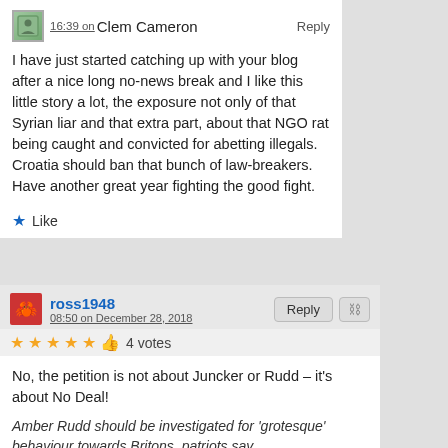16:39 on Clem Cameron — Reply
I have just started catching up with your blog after a nice long no-news break and I like this little story a lot, the exposure not only of that Syrian liar and that extra part, about that NGO rat being caught and convicted for abetting illegals.
Croatia should ban that bunch of law-breakers.
Have another great year fighting the good fight.
★ Like
ross1948 — 08:50 on December 28, 2018 — Reply
★★★★★ 👍 4 votes
No, the petition is not about Juncker or Rudd – it's about No Deal!
Amber Rudd should be investigated for 'grotesque' behaviour towards Britons, patriots say…
=
[Figure (other): Broken image placeholder labeled 'Hasil gambar untuk amber rudd theresa may']